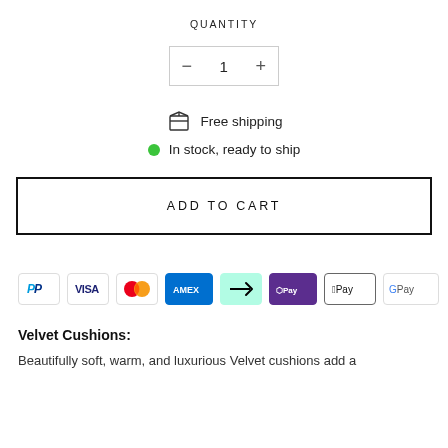QUANTITY
[Figure (other): Quantity selector with minus button, number 1, and plus button in a rectangular bordered box]
Free shipping
In stock, ready to ship
ADD TO CART
[Figure (other): Payment method icons: PayPal, Visa, Mastercard, American Express, Afterpay, Shop Pay, Apple Pay, Google Pay]
Velvet Cushions:
Beautifully soft, warm, and luxurious Velvet cushions add a